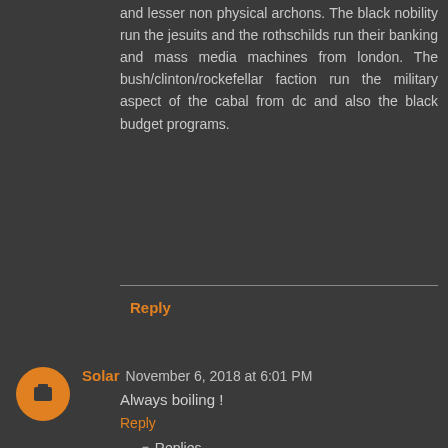and lesser non physical archons. The black nobility run the jesuits and the rothschilds run their banking and mass media machines from london. The bush/clinton/rockefellar faction run the military aspect of the cabal from dc and also the black budget programs.
Reply
Solar  November 6, 2018 at 6:01 PM
Always boiling !
Reply
Replies
Maria  November 7, 2018 at 1:53 AM
Haha! You or earth?:)
Reply